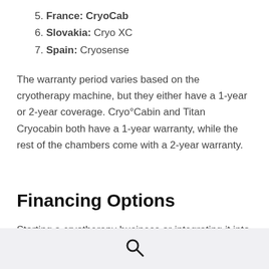5. France: CryoCab
6. Slovakia: Cryo XC
7. Spain: Cryosense
The warranty period varies based on the cryotherapy machine, but they either have a 1-year or 2-year coverage. Cryo°Cabin and Titan Cryocabin both have a 1-year warranty, while the rest of the chambers come with a 2-year warranty.
Financing Options
Starting a cryotherapy business or integrating it into an existing enterprise is often challenging. Subsequently